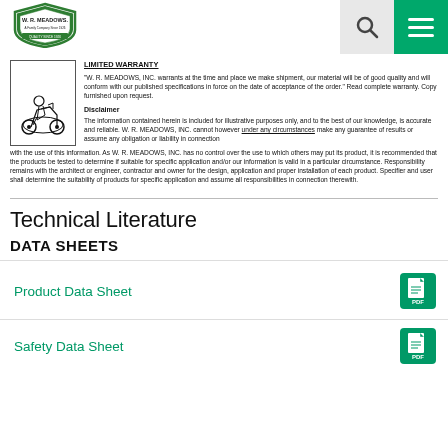W. R. MEADOWS logo header with search and menu icons
LIMITED WARRANTY
"W. R. MEADOWS, INC. warrants at the time and place we make shipment, our material will be of good quality and will conform with our published specifications in force on the date of acceptance of the order." Read complete warranty. Copy furnished upon request.
Disclaimer
The information contained herein is included for illustrative purposes only, and to the best of our knowledge, is accurate and reliable. W. R. MEADOWS, INC. cannot however under any circumstances make any guarantee of results or assume any obligation or liability in connection with the use of this information. As W. R. MEADOWS, INC. has no control over the use to which others may put its product, it is recommended that the products be tested to determine if suitable for specific application and/or our information is valid in a particular circumstance. Responsibility remains with the architect or engineer, contractor and owner for the design, application and proper installation of each product. Specifier and user shall determine the suitability of products for specific application and assume all responsibilities in connection therewith.
Technical Literature
DATA SHEETS
Product Data Sheet
Safety Data Sheet